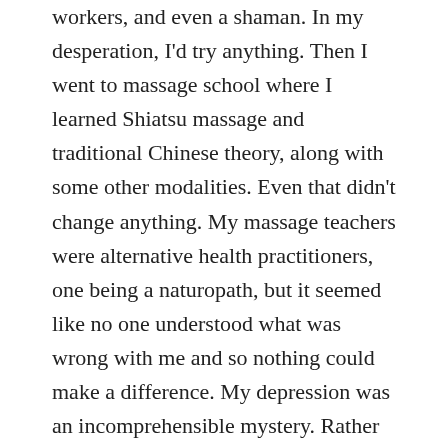workers, and even a shaman. In my desperation, I'd try anything. Then I went to massage school where I learned Shiatsu massage and traditional Chinese theory, along with some other modalities. Even that didn't change anything. My massage teachers were alternative health practitioners, one being a naturopath, but it seemed like no one understood what was wrong with me and so nothing could make a difference. My depression was an incomprehensible mystery. Rather than something being wrong with me, I was the problem in being inherently defective, so it seemed in my lingering